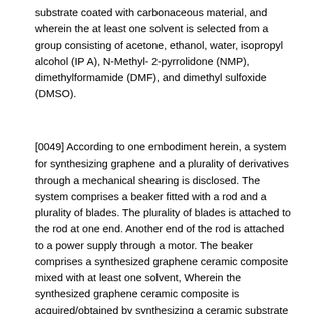substrate coated with carbonaceous material, and wherein the at least one solvent is selected from a group consisting of acetone, ethanol, water, isopropyl alcohol (IPA), N-Methyl- 2-pyrrolidone (NMP), dimethylformamide (DMF), and dimethyl sulfoxide (DMSO).
[0049] According to one embodiment herein, a system for synthesizing graphene and a plurality of derivatives through a mechanical shearing is disclosed. The system comprises a beaker fitted with a rod and a plurality of blades. The plurality of blades is attached to the rod at one end. Another end of the rod is attached to a power supply through a motor. The beaker comprises a synthesized graphene ceramic composite mixed with at least one solvent, Wherein the synthesized graphene ceramic composite is acquired/obtained by synthesizing a ceramic substrate from a ceramic material in particulate form, depositing carbon material on the synthesized ceramic substrate and synthesizing the carbonaceous material coated graphene ceramic substrate, and wherein the ceramic material is selected from a group consisting of oxides of silicon, aluminum, zirconium, zinc, magnesium, and calcium; wherein the carbon material is selected from